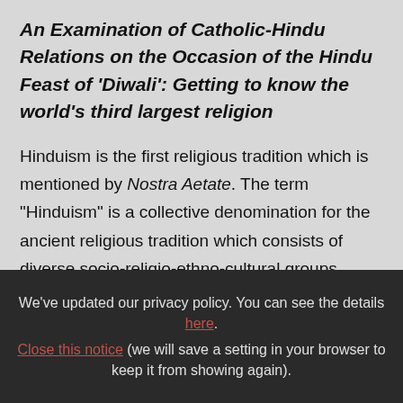An Examination of Catholic-Hindu Relations on the Occasion of the Hindu Feast of 'Diwali': Getting to know the world's third largest religion
Hinduism is the first religious tradition which is mentioned by Nostra Aetate. The term "Hinduism" is a collective denomination for the ancient religious tradition which consists of diverse socio-religio-ethno-cultural groups. Hindus themselves call their religious tradition
We've updated our privacy policy. You can see the details here. Close this notice (we will save a setting in your browser to keep it from showing again).